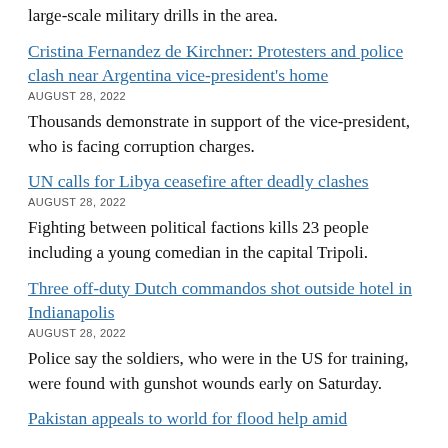large-scale military drills in the area.
Cristina Fernandez de Kirchner: Protesters and police clash near Argentina vice-president's home
AUGUST 28, 2022
Thousands demonstrate in support of the vice-president, who is facing corruption charges.
UN calls for Libya ceasefire after deadly clashes
AUGUST 28, 2022
Fighting between political factions kills 23 people including a young comedian in the capital Tripoli.
Three off-duty Dutch commandos shot outside hotel in Indianapolis
AUGUST 28, 2022
Police say the soldiers, who were in the US for training, were found with gunshot wounds early on Saturday.
Pakistan appeals to world for flood help amid disaster